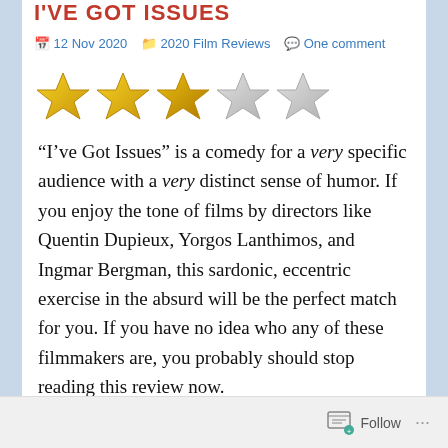I'VE GOT ISSUES
12 Nov 2020  2020 Film Reviews  One comment
[Figure (other): 3 out of 5 gold stars rating — three gold/yellow stars followed by two grey/empty stars]
“I’ve Got Issues” is a comedy for a very specific audience with a very distinct sense of humor. If you enjoy the tone of films by directors like Quentin Dupieux, Yorgos Lanthimos, and Ingmar Bergman, this sardonic, eccentric exercise in the absurd will be the perfect match for you. If you have no idea who any of these filmmakers are, you probably should stop reading this review now.
Follow ...